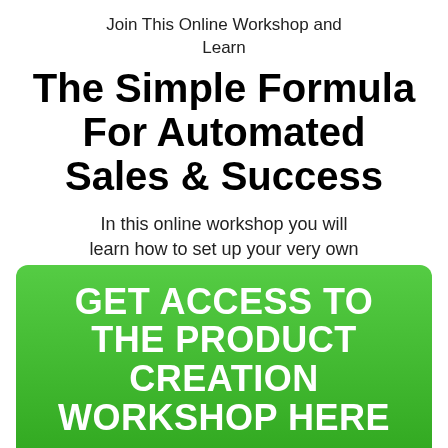Join This Online Workshop and Learn
The Simple Formula For Automated Sales & Success
In this online workshop you will learn how to set up your very own automated sales machine that can generate autopilot income 365 days a year
GET ACCESS TO THE PRODUCT CREATION WORKSHOP HERE